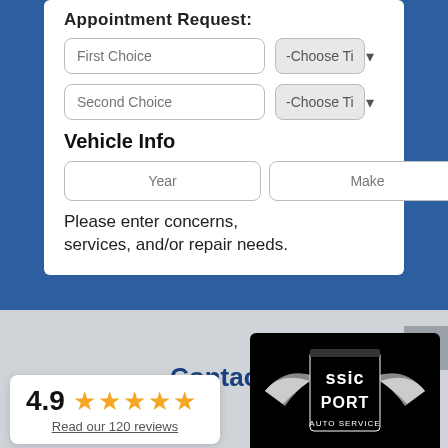Appointment Request:
First Choice | -Choose Ti...
Second Choice | -Choose Ti...
Vehicle Info
Year | Make | Model
Please enter concerns, services, and/or repair needs.
Contact Us
[Figure (other): Review card showing 4.9 rating with 5 gold stars and link to 120 reviews]
[Figure (logo): Classic Import Auto Service logo — black shield with wings]